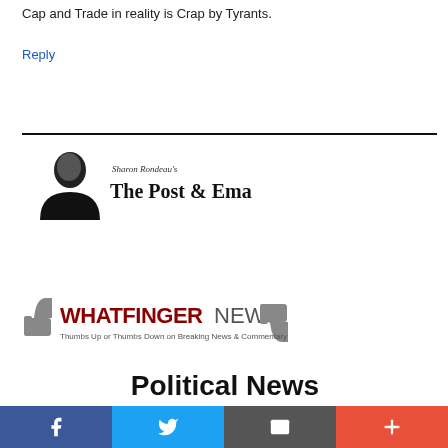Cap and Trade in reality is Crap by Tyrants.
Reply
[Figure (logo): Sharon Rondeau's The Post & Email logo with a black-and-white photo of a woman]
[Figure (logo): Whatfinger News logo with thumbs up and thumbs down icons. Tagline: Thumbs Up or Thumbs Down on Breaking News & Commentary]
Political News Megasite
[Figure (other): Social share bar with Facebook, Twitter, email, and more buttons]